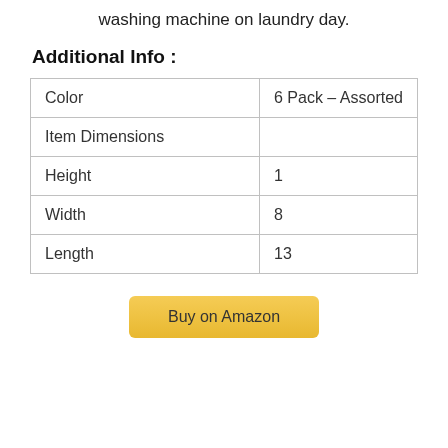washing machine on laundry day.
Additional Info :
|  |  |
| --- | --- |
| Color | 6 Pack – Assorted |
| Item Dimensions |  |
| Height | 1 |
| Width | 8 |
| Length | 13 |
Buy on Amazon